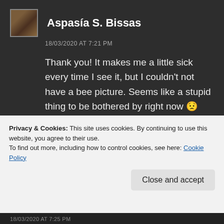Aspasia S. Bissas
18/03/2020 AT 7:21 PM
Thank you! It makes me a little sick every time I see it, but I couldn't not have a bee picture. Seems like a stupid thing to be bothered by right now 😟
Liked by 1 person
Privacy & Cookies: This site uses cookies. By continuing to use this website, you agree to their use.
To find out more, including how to control cookies, see here: Cookie Policy
Close and accept
18/03/2020 AT 7:25 PM